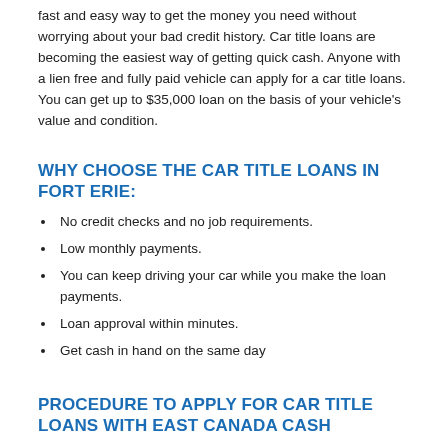fast and easy way to get the money you need without worrying about your bad credit history. Car title loans are becoming the easiest way of getting quick cash. Anyone with a lien free and fully paid vehicle can apply for a car title loans. You can get up to $35,000 loan on the basis of your vehicle's value and condition.
WHY CHOOSE THE CAR TITLE LOANS IN FORT ERIE:
No credit checks and no job requirements.
Low monthly payments.
You can keep driving your car while you make the loan payments.
Loan approval within minutes.
Get cash in hand on the same day
PROCEDURE TO APPLY FOR CAR TITLE LOANS WITH EAST CANADA CASH